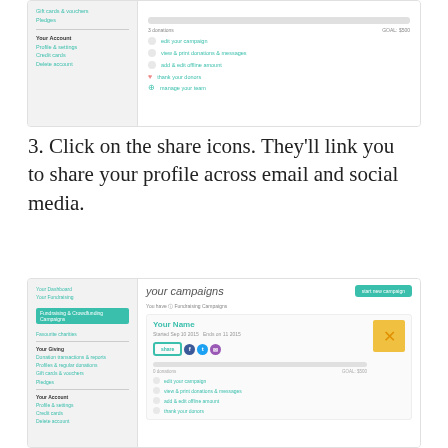[Figure (screenshot): Screenshot of a fundraising platform dashboard showing navigation sidebar with items like Gift cards & vouchers, Pledges, Your Account, Profile & settings, Credit cards, Delete account; and main content area with a progress bar (3 donations / GOAL: $500) and action links: edit your campaign, view & print donations & messages, add & edit offline amount, thank your donors, manage your team.]
3. Click on the share icons. They'll link you to share your profile across email and social media.
[Figure (screenshot): Screenshot of a fundraising platform dashboard showing navigation sidebar with Your Dashboard, Your Fundraising, Fundraising & Crowdfunding Campaigns (highlighted), Favourite charities, Your Giving, Donation transactions & reports, Profiles & regular donations, Gift cards & vouchers, Pledges, Your Account, Profile & settings, Credit cards, Delete account; and main content area showing a campaign card with Your Name, Started [date] / Ends on [date], a Share button with Facebook/Twitter/email social icons highlighted with a border, a progress bar, and action links including edit your campaign, view & print donations & messages, add & edit offline amount, thank your donors.]